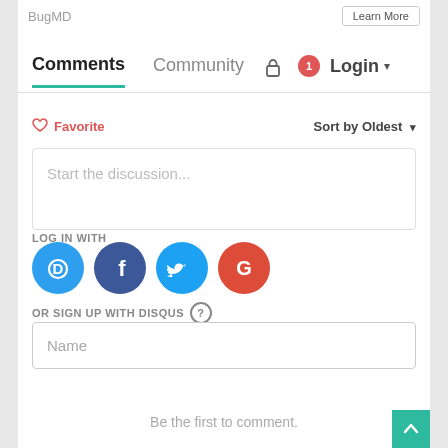BugMD
Learn More
Comments  Community  Login
Favorite  Sort by Oldest
Start the discussion...
LOG IN WITH
[Figure (other): Social login icons: Disqus (D), Facebook (f), Twitter bird, Google (G)]
OR SIGN UP WITH DISQUS ?
Name
Be the first to comment.